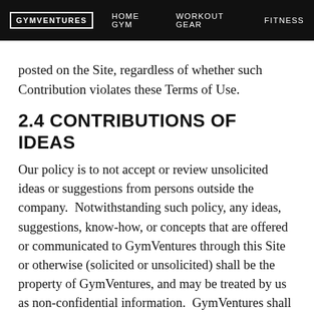GYMVENTURES | HOME GYM | WORKOUT GEAR | FITNESS
posted on the Site, regardless of whether such Contribution violates these Terms of Use.
2.4 CONTRIBUTIONS OF IDEAS
Our policy is to not accept or review unsolicited ideas or suggestions from persons outside the company. Notwithstanding such policy, any ideas, suggestions, know-how, or concepts that are offered or communicated to GymVentures through this Site or otherwise (solicited or unsolicited) shall be the property of GymVentures, and may be treated by us as non-confidential information.  GymVentures shall have the unrestricted right to use and disclose such ideas,